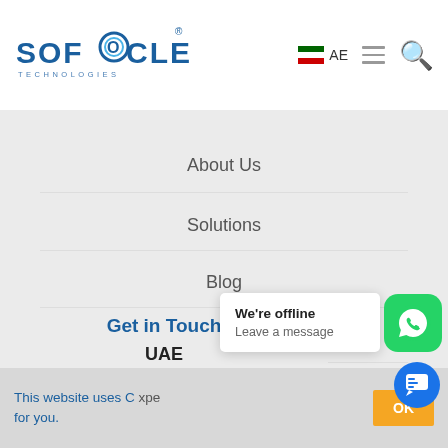[Figure (logo): Sofocle Technologies logo — blue text with circular O element and 'TECHNOLOGIES' subtitle]
[Figure (infographic): UAE flag icon with 'AE' text, hamburger menu icon, and orange search icon in header]
About Us
Solutions
Blog
Careers
Contact Us
Get in Touch
UAE
This website uses C  xpe for you.
We're offline
Leave a message